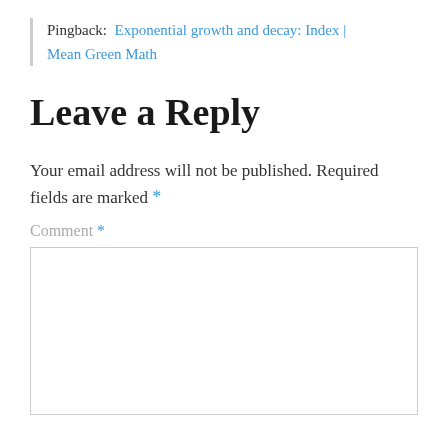Pingback: Exponential growth and decay: Index | Mean Green Math
Leave a Reply
Your email address will not be published. Required fields are marked *
Comment *
[Figure (other): Empty comment text area input box with light gray border]